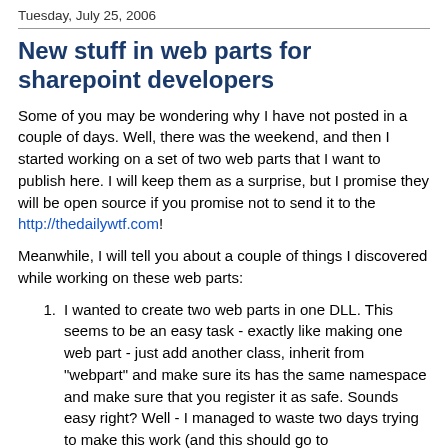Tuesday, July 25, 2006
New stuff in web parts for sharepoint developers
Some of you may be wondering why I have not posted in a couple of days. Well, there was the weekend, and then I started working on a set of two web parts that I want to publish here. I will keep them as a surprise, but I promise they will be open source if you promise not to send it to the http://thedailywtf.com!
Meanwhile, I will tell you about a couple of things I discovered while working on these web parts:
I wanted to create two web parts in one DLL. This seems to be an easy task - exactly like making one web part - just add another class, inherit from "webpart" and make sure its has the same namespace and make sure that you register it as safe. Sounds easy right? Well - I managed to waste two days trying to make this work (and this should go to http://thedailywtf.com) because I didnt notice that the